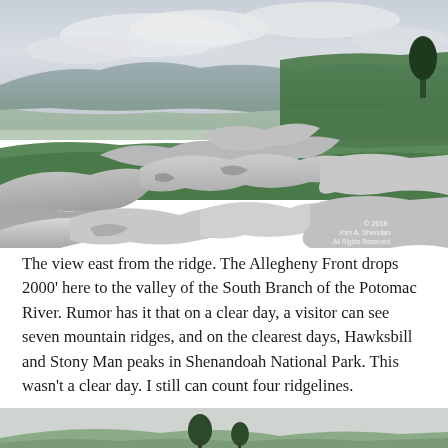[Figure (photo): Photograph of large rocks and boulders on a mountain ridge with green vegetation, overlooking a distant valley and mountain ridges under an overcast sky. A watermark reads '© 2016 Kim A. Sheridan All Rights Reserved' in the bottom right corner.]
The view east from the ridge. The Allegheny Front drops 2000' here to the valley of the South Branch of the Potomac River. Rumor has it that on a clear day, a visitor can see seven mountain ridges, and on the clearest days, Hawksbill and Stony Man peaks in Shenandoah National Park. This wasn't a clear day. I still can count four ridgelines.
[Figure (photo): Partial view of a second photograph showing a mountain landscape, partially visible at the bottom of the page.]